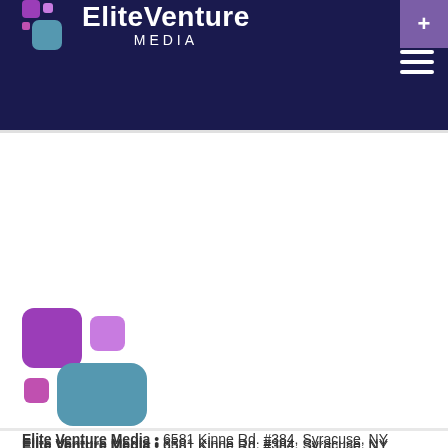EliteVenture MEDIA
[Figure (logo): Elite Venture Media logo — two rounded squares in purple and teal on dark navy background header]
[Figure (logo): Elite Venture Media standalone logo icon — purple and teal rounded squares]
Elite Venture Media • 6581 Kinne Rd. #384, Syracuse, NY 13214 • (518) 595-9393 • (800) 988-7115 • hi@eliteventure.media
Copyright © 2007-22 Elite Venture Media. All rights reserved. •
Get in touch